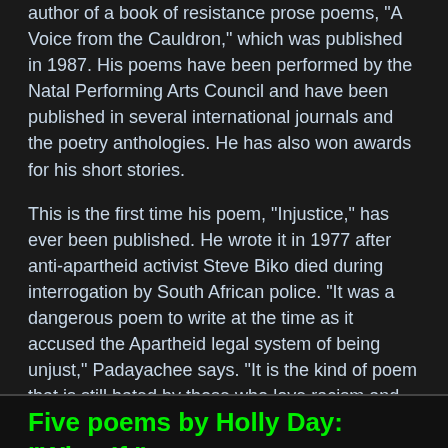author of a book of resistance prose poems, "A Voice from the Cauldron," which was published in 1987. His poems have been performed by the Natal Performing Arts Council and have been published in several international journals and the poetry anthologies. He has also won awards for his short stories.
This is the first time his poem, "Injustice," has ever been published. He wrote it in 1977 after anti-apartheid activist Steve Biko died during interrogation by South African police. "It was a dangerous poem to write at the time as it accused the Apartheid legal system of being unjust," Padayachee says. "It is the kind of poem that is still hated by those who love racism and apartheid."
Unknown
Share
Five poems by Holly Day: "What If,"